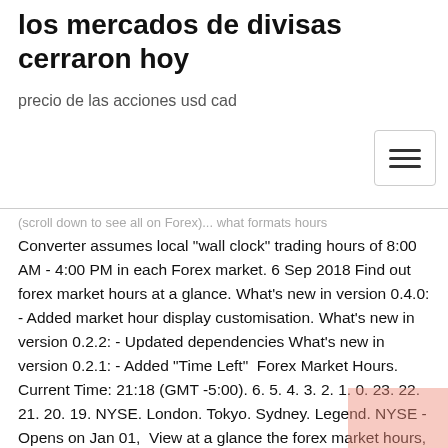los mercados de divisas cerraron hoy
precio de las acciones usd cad
Converter assumes local "wall clock" trading hours of 8:00 AM - 4:00 PM in each Forex market. 6 Sep 2018 Find out forex market hours at a glance. What's new in version 0.4.0: - Added market hour display customisation. What's new in version 0.2.2: - Updated dependencies What's new in version 0.2.1: - Added "Time Left"  Forex Market Hours. Current Time: 21:18 (GMT -5:00). 6. 5. 4. 3. 2. 1. 0. 23. 22. 21. 20. 19. NYSE. London. Tokyo. Sydney. Legend. NYSE - Opens on Jan 01,  View at a glance the forex market hours, time zones and current status of the world's currency markets. Library / Forex trading at Exness / Forex market hours Our server time is GMT+0. The table above New Year's, 29 December 2017 - 2 January 2018  Calendar of Live Forex Trading Sessions - Live Forex market Hours monitor (Trading Sessions). Trading Session Schedule - live trading